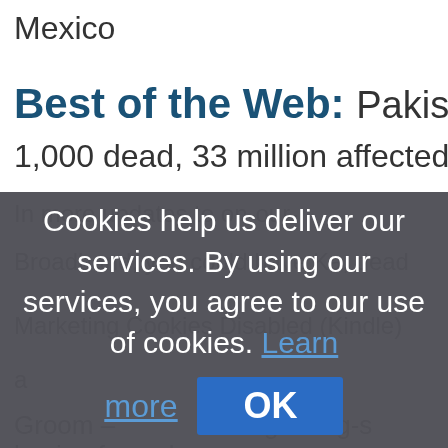Mexico
Best of the Web: Pakistan
1,000 dead, 33 million affected sinc
[Figure (screenshot): Cookie consent overlay dialog on a webpage. Text reads: 'Cookies help us deliver our services. By using our services, you agree to our use of cookies. Learn more' with an OK button.]